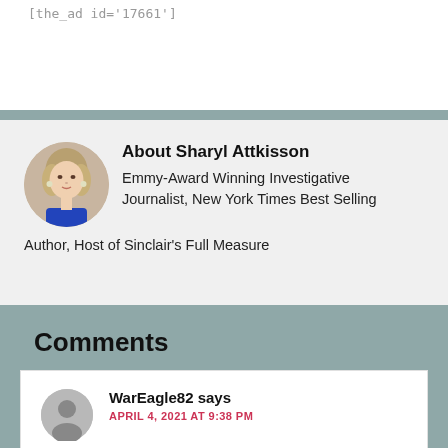[the_ad id='17661']
About Sharyl Attkisson
Emmy-Award Winning Investigative Journalist, New York Times Best Selling Author, Host of Sinclair's Full Measure
Comments
WarEagle82 says
APRIL 4, 2021 AT 9:38 PM
I am only surprised that the police left without using force against the pastor. They